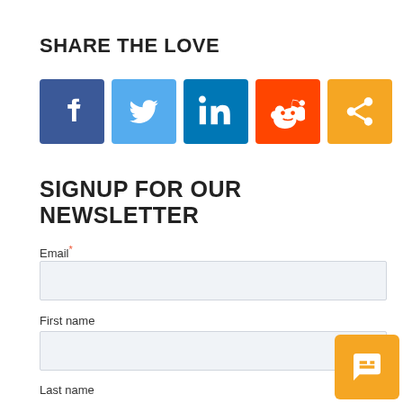SHARE THE LOVE
[Figure (infographic): Social sharing icons: Facebook (blue), Twitter (light blue), LinkedIn (dark blue), Reddit (orange-red), Share (orange)]
SIGNUP FOR OUR NEWSLETTER
Email*
First name
Last name